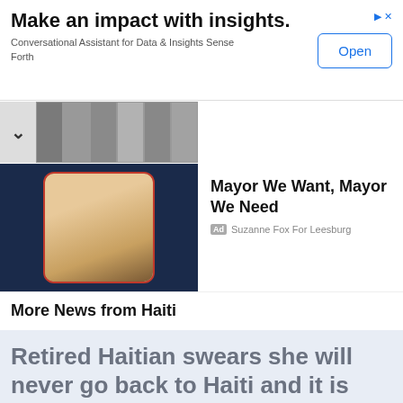[Figure (infographic): Advertisement banner: 'Make an impact with insights. Conversational Assistant for Data & Insights Sense Forth' with an Open button]
Make an impact with insights.
Conversational Assistant for Data & Insights Sense Forth
[Figure (photo): Black and white photo strip showing multiple portrait headshots in a grid]
[Figure (photo): Advertisement card with dark navy background showing a woman's portrait photo with red-bordered frame. Headline: Mayor We Want, Mayor We Need. Ad sponsor: Suzanne Fox For Leesburg]
Mayor We Want, Mayor We Need
Ad Suzanne Fox For Leesburg
More News from Haiti
Retired Haitian swears she will never go back to Haiti and it is our brothers and sisters fault